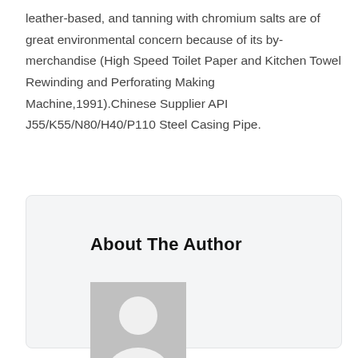leather-based, and tanning with chromium salts are of great environmental concern because of its by-merchandise (High Speed Toilet Paper and Kitchen Towel Rewinding and Perforating Making Machine,1991).Chinese Supplier API J55/K55/N80/H40/P110 Steel Casing Pipe.
About The Author
[Figure (illustration): Generic grey placeholder avatar/profile image showing a silhouette of a person (head and shoulders)]